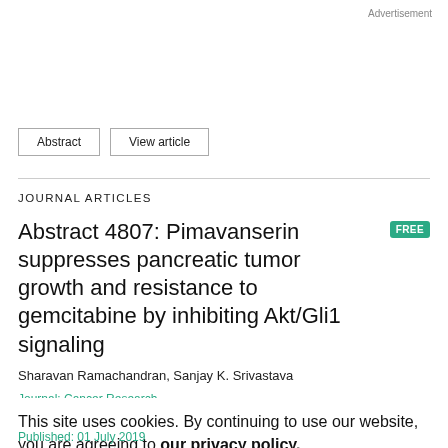Advertisement
Abstract   View article
JOURNAL ARTICLES
Abstract 4807: Pimavanserin suppresses pancreatic tumor growth and resistance to gemcitabine by inhibiting Akt/Gli1 signaling FREE
Sharavan Ramachandran, Sanjay K. Srivastava
Journal: Cancer Research
This site uses cookies. By continuing to use our website, you are agreeing to our privacy policy. Accept
Published: 01 July 2019